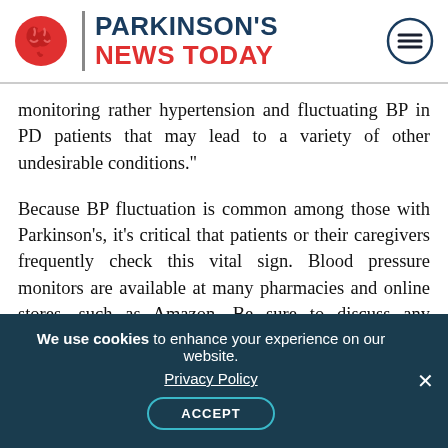PARKINSON'S NEWS TODAY
monitoring rather hypertension and fluctuating BP in PD patients that may lead to a variety of other undesirable conditions."
Because BP fluctuation is common among those with Parkinson's, it's critical that patients or their caregivers frequently check this vital sign. Blood pressure monitors are available at many pharmacies and online stores, such as Amazon. Be sure to discuss any concerns with your primary healthcare provider and neurologist.
We use cookies to enhance your experience on our website. Privacy Policy ACCEPT